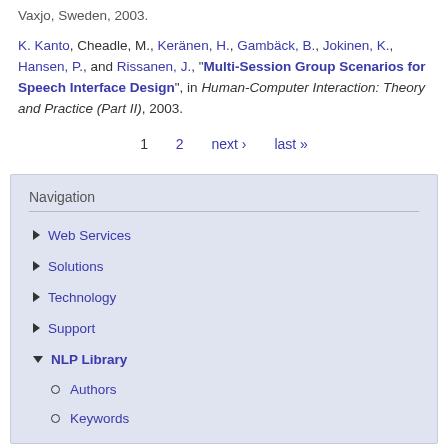Vaxjo, Sweden, 2003.
K. Kanto, Cheadle, M., Keränen, H., Gambäck, B., Jokinen, K., Hansen, P., and Rissanen, J., "Multi-Session Group Scenarios for Speech Interface Design", in Human-Computer Interaction: Theory and Practice (Part II), 2003.
1   2   next ›   last »
Navigation
Web Services
Solutions
Technology
Support
NLP Library
Authors
Keywords